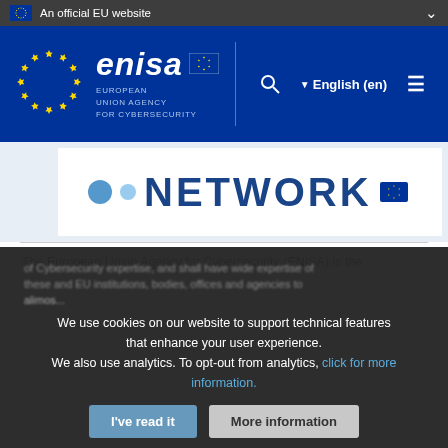An official EU website
[Figure (logo): ENISA – European Union Agency for Cybersecurity logo with EU circle of stars and wordmark]
[Figure (screenshot): Partial banner image showing 'NETWORK' text with blue decorative circles]
The European Union Agency for Cybersecurity (ENISA) is the
We use cookies on our website to support technical features that enhance your user experience. We also use analytics. To opt-out from analytics, click for more information.
I've read it
More information